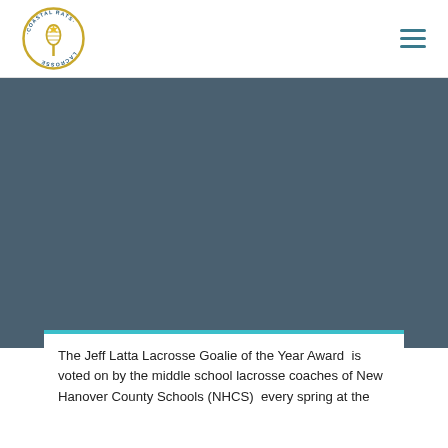Coastal Rats Lacrosse [logo] [hamburger menu]
[Figure (logo): Coastal Rats Lacrosse circular logo with yellow lacrosse head graphic in center on white background]
[Figure (photo): Blue-grey hero image background section]
The Jeff Latta Lacrosse Goalie of the Year Award  is voted on by the middle school lacrosse coaches of New Hanover County Schools (NHCS)  every spring at the